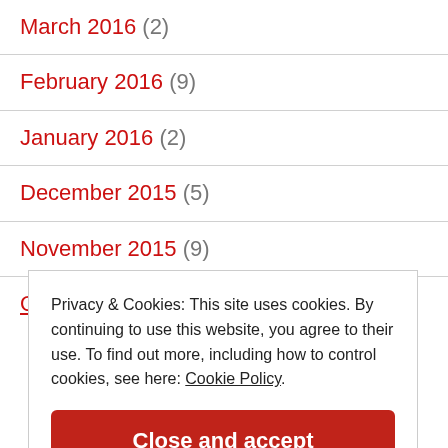March 2016 (2)
February 2016 (9)
January 2016 (2)
December 2015 (5)
November 2015 (9)
October 2015 (10)
Privacy & Cookies: This site uses cookies. By continuing to use this website, you agree to their use. To find out more, including how to control cookies, see here: Cookie Policy.
Close and accept